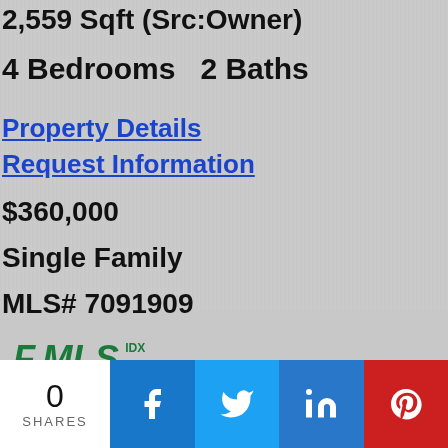2,559 Sqft (Src:Owner)
4 Bedrooms   2 Baths
Property Details
Request Information
$360,000
Single Family
MLS# 7091909
[Figure (logo): FMLS IDX logo]
[Figure (photo): Exterior photo of residential houses with green trees and blue sky]
0
SHARES